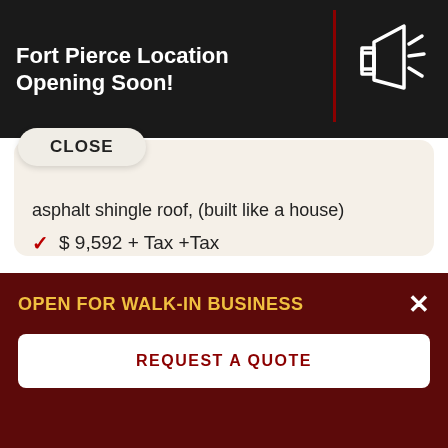Fort Pierce Location Opening Soon!
CLOSE
asphalt shingle roof, (built like a house)
$ 9,592 + Tax +Tax
SALE!! 12% OFF ORIGINAL PRICE!!!! $ 8,441+Tax
[Figure (photo): Exterior photo of a house with white roof and palm trees against blue sky]
OPEN FOR WALK-IN BUSINESS
REQUEST A QUOTE